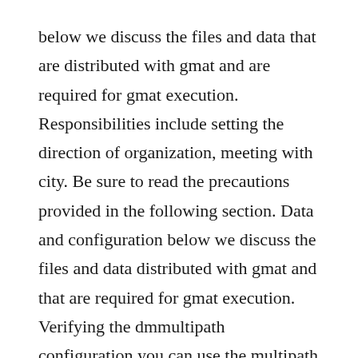below we discuss the files and data that are distributed with gmat and are required for gmat execution. Responsibilities include setting the direction of organization, meeting with city. Be sure to read the precautions provided in the following section. Data and configuration below we discuss the files and data distributed with gmat and that are required for gmat execution. Verifying the dmmultipath configuration you can use the multipath command on the linux host to view and verify the dmmultipath configuration. Oct